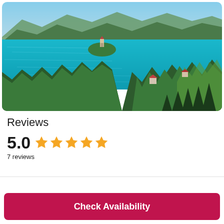[Figure (photo): Aerial view of Lake Bled, Slovenia, showing turquoise water with a small island containing a church, surrounded by forested hills and mountains in the background]
Reviews
5.0  ★★★★★
7 reviews
Check Availability